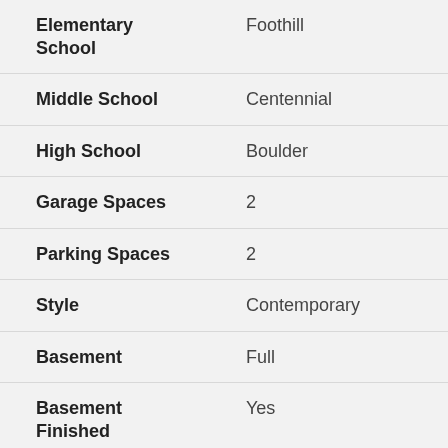| Field | Value |
| --- | --- |
| Elementary School | Foothill |
| Middle School | Centennial |
| High School | Boulder |
| Garage Spaces | 2 |
| Parking Spaces | 2 |
| Style | Contemporary |
| Basement | Full |
| Basement Finished | Yes |
| Zoned | Resi |